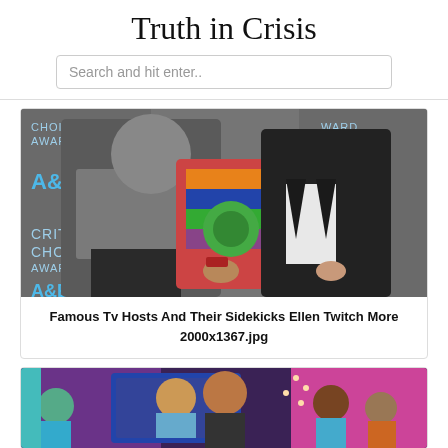Truth in Crisis
Search and hit enter..
[Figure (photo): Two people posing at Critics Choice Awards event with A&E branded backdrop. One person in grey outfit with colorful patterned jacket, another in black suit. Text on backdrop reads CRITICS CHOICE AWARDS and A&E.]
Famous Tv Hosts And Their Sidekicks Ellen Twitch More 2000x1367.jpg
[Figure (photo): TV show set with multiple people, colorful purple and pink background, a person in center foreground, television screen visible in background showing a woman.]